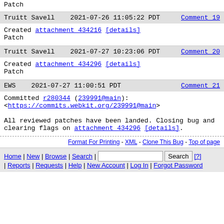Patch
Truitt Savell   2021-07-26 11:05:22 PDT    Comment 19
Created attachment 434216 [details]
Patch
Truitt Savell   2021-07-27 10:23:06 PDT    Comment 20
Created attachment 434296 [details]
Patch
EWS   2021-07-27 11:00:51 PDT    Comment 21
Committed r280344 (239991@main):
<https://commits.webkit.org/239991@main>

All reviewed patches have been landed. Closing bug and clearing flags on attachment 434296 [details].
Format For Printing - XML - Clone This Bug - Top of page
Home | New | Browse | Search | [Search box] | Search | [?] | Reports | Requests | Help | New Account | Log In | Forgot Password